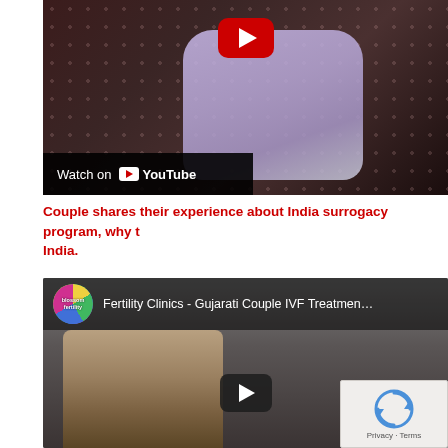[Figure (screenshot): YouTube video thumbnail showing a person in a floral top with a lavender/purple glove, with a red YouTube play button at the top and a 'Watch on YouTube' bar at the bottom left.]
Couple shares their experience about India surrogacy program, why they chose India.
[Figure (screenshot): YouTube video embed showing a Gujarati couple IVF treatment video from Blossom Fertility Clinics channel. A man and woman are visible. There is a dark play button in the center and a reCAPTCHA Privacy/Terms overlay in the bottom right.]